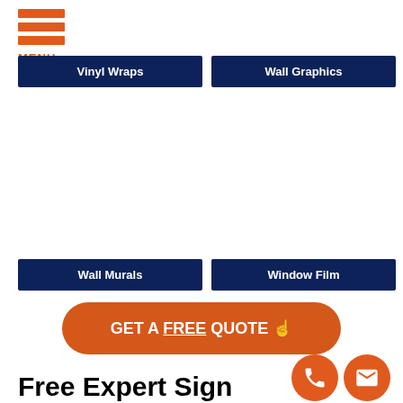[Figure (logo): Orange hamburger menu icon with three horizontal orange bars and the text MENU below in orange]
Vinyl Wraps
Wall Graphics
Wall Murals
Window Film
GET A FREE QUOTE ☞
Free Expert Sign